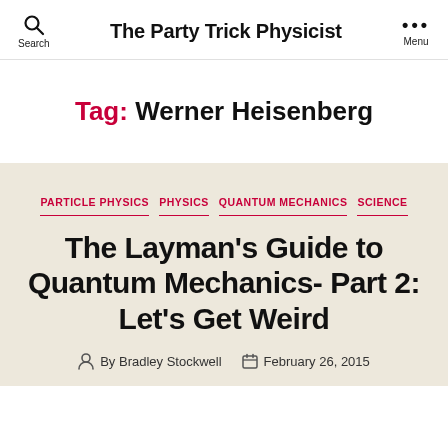The Party Trick Physicist
Tag: Werner Heisenberg
PARTICLE PHYSICS  PHYSICS  QUANTUM MECHANICS  SCIENCE
The Layman's Guide to Quantum Mechanics- Part 2: Let's Get Weird
By Bradley Stockwell  February 26, 2015